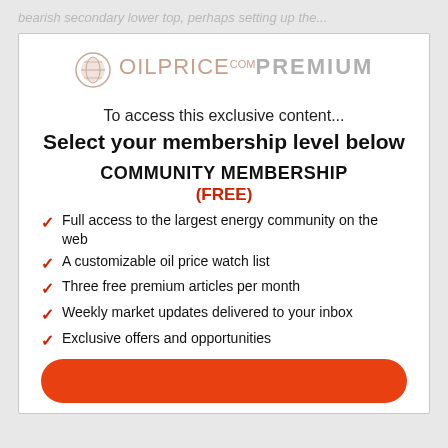bearish secondary lower top, perhaps setting up the...
[Figure (logo): OilPrice.com Premium logo with globe icon]
To access this exclusive content...
Select your membership level below
COMMUNITY MEMBERSHIP
(FREE)
Full access to the largest energy community on the web
A customizable oil price watch list
Three free premium articles per month
Weekly market updates delivered to your inbox
Exclusive offers and opportunities